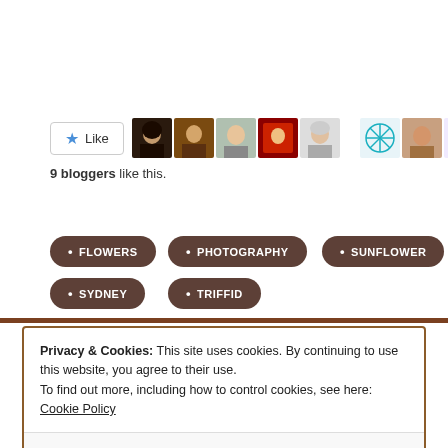[Figure (other): Like button with star icon and 9 blogger avatar thumbnails]
9 bloggers like this.
FLOWERS
PHOTOGRAPHY
SUNFLOWER
SYDNEY
TRIFFID
Privacy & Cookies: This site uses cookies. By continuing to use this website, you agree to their use. To find out more, including how to control cookies, see here: Cookie Policy
Close and accept